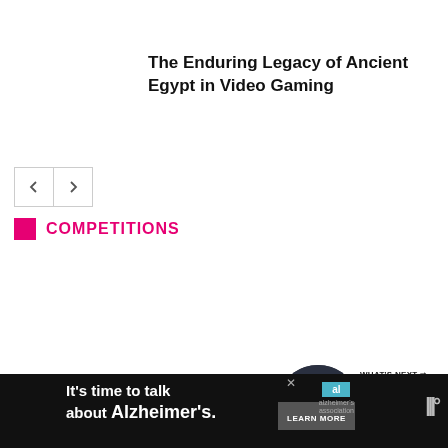The Enduring Legacy of Ancient Egypt in Video Gaming
[Figure (other): Navigation previous/next arrow buttons]
COMPETITIONS
[Figure (other): Scroll count circle showing 0, scroll-up button, What's Next thumbnail with Batman Animated... preview]
[Figure (other): Advertisement banner: It's time to talk about Alzheimer's. LEARN MORE. Alzheimer's Association logo.]